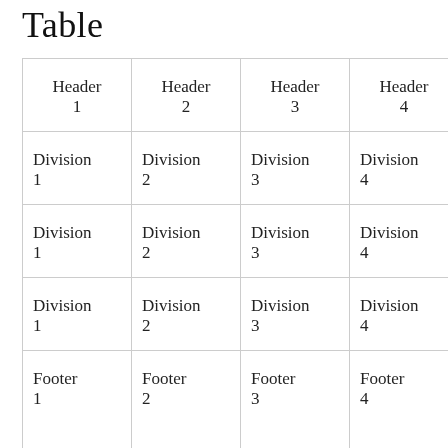Table
| Header 1 | Header 2 | Header 3 | Header 4 | Header 5 | Header 6 |
| --- | --- | --- | --- | --- | --- |
| Division 1 | Division 2 | Division 3 | Division 4 | Division 5 | Division 6 |
| Division 1 | Division 2 | Division 3 | Division 4 | Division 5 | Division 6 |
| Division 1 | Division 2 | Division 3 | Division 4 | Division 5 | Division 6 |
| Footer 1 | Footer 2 | Footer 3 | Footer 4 | Footer 5 | Footer 6 |